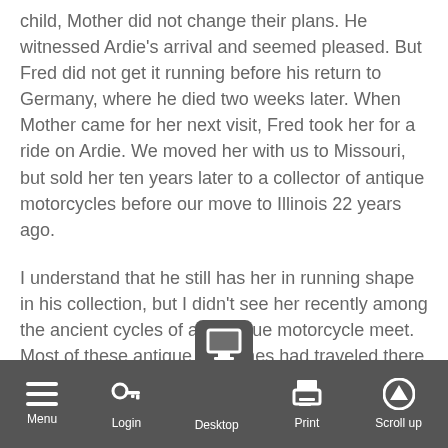child, Mother did not change their plans. He witnessed Ardie's arrival and seemed pleased. But Fred did not get it running before his return to Germany, where he died two weeks later. When Mother came for her next visit, Fred took her for a ride on Ardie. We moved her with us to Missouri, but sold her ten years later to a collector of antique motorcycles before our move to Illinois 22 years ago.
I understand that he still has her in running shape in his collection, but I didn't see her recently among the ancient cycles of an antique motorcycle meet. Most of these antique machines had traveled there by trailer and were restored to better-than-new perfection. None were of Ardie's vintage. And I doubt that they could touch her history, her 'character,' or her impact on the lives of their owners.
Menu  Login  Desktop  Print  Scroll up